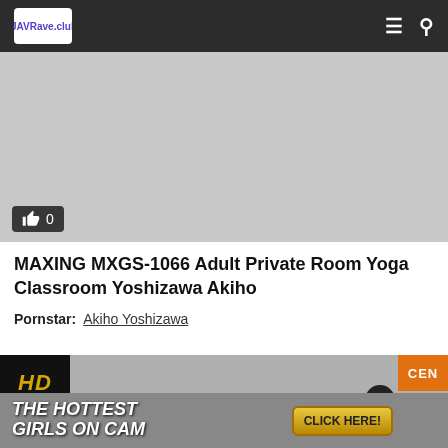JAVRave.club
[Figure (screenshot): Gray video player placeholder with a like/thumbs-up button showing 0 likes in bottom left]
MAXING MXGS-1066 Adult Private Room Yoga Classroom Yoshizawa Akiho
Pornstar:  Akiho Yoshizawa
[Figure (screenshot): Advertisement banner showing HD badge, CEN badge, close button, and promotional content with text THE HOTTEST GIRLS ON CAM and CLICK HERE button]